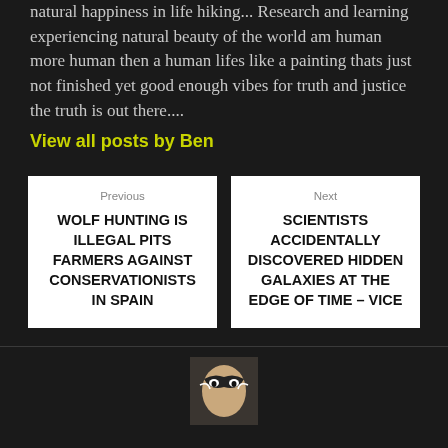natural happiness in life hiking... Research and learning experiencing natural beauty of the world am human more human then a human lifes like a painting thats just not finished yet good enough vibes for truth and justice the truth is out there....
View all posts by Ben
Previous
WOLF HUNTING IS ILLEGAL PITS FARMERS AGAINST CONSERVATIONISTS IN SPAIN
Next
SCIENTISTS ACCIDENTALLY DISCOVERED HIDDEN GALAXIES AT THE EDGE OF TIME – VICE
[Figure (photo): Small avatar/profile photo of a person with face paint, partially visible at the bottom center of the page]